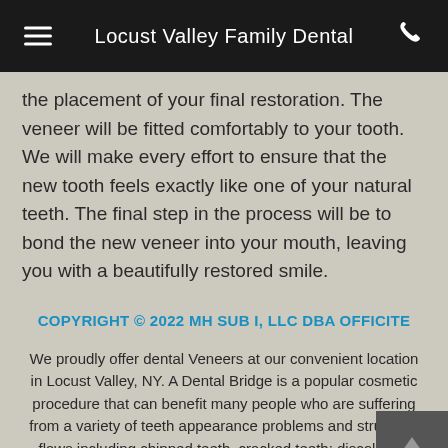Locust Valley Family Dental
the placement of your final restoration. The veneer will be fitted comfortably to your tooth. We will make every effort to ensure that the new tooth feels exactly like one of your natural teeth. The final step in the process will be to bond the new veneer into your mouth, leaving you with a beautifully restored smile.
COPYRIGHT © 2022 MH SUB I, LLC DBA OFFICITE
We proudly offer dental Veneers at our convenient location in Locust Valley, NY. A Dental Bridge is a popular cosmetic procedure that can benefit many people who are suffering from a variety of teeth appearance problems and structural flaws including chipped teeth, cracked teeth; discolored, stained, large gaps, receding gum and decaying teeth